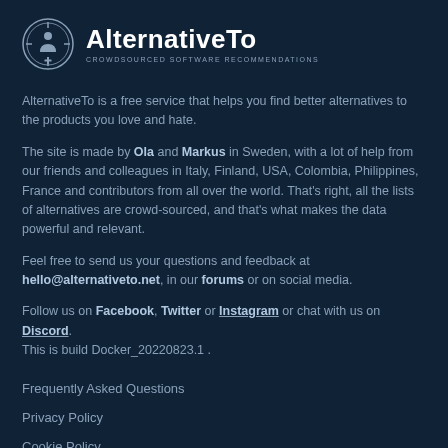[Figure (logo): AlternativeTo logo: circular emblem with stylized figure, beside bold text 'AlternativeTo' and tagline 'CROWDSOURCED SOFTWARE RECOMMENDATIONS']
AlternativeTo is a free service that helps you find better alternatives to the products you love and hate.
The site is made by Ola and Markus in Sweden, with a lot of help from our friends and colleagues in Italy, Finland, USA, Colombia, Philippines, France and contributors from all over the world. That's right, all the lists of alternatives are crowd-sourced, and that's what makes the data powerful and relevant.
Feel free to send us your questions and feedback at hello@alternativeto.net, in our forums or on social media.
Follow us on Facebook, Twitter or Instagram or chat with us on Discord. This is build Docker_20220823.1 .
Frequently Asked Questions
Privacy Policy
Cookie Policy